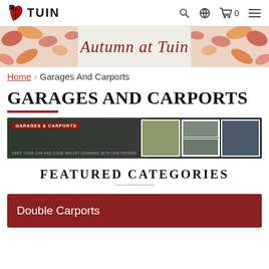TUIN
[Figure (photo): Autumn at Tuin promotional banner with autumn leaves decoration and cursive red text reading 'Autumn at Tuin']
Home > Garages And Carports
GARAGES AND CARPORTS
[Figure (photo): Garages & Carports category banner showing garage photos with text 'GARAGES & CARPORTS' and 'KEEP YOUR CAR AND YOUR WALLET COVERED WITH OUR OFFERS']
FEATURED CATEGORIES
Double Carports